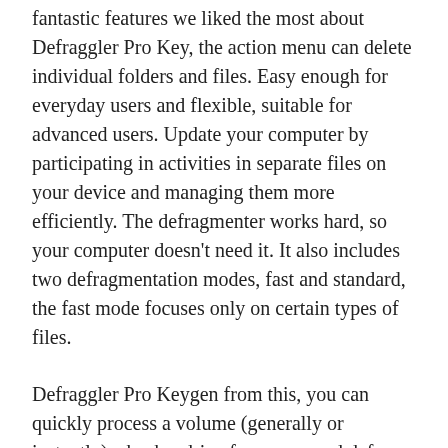fantastic features we liked the most about Defraggler Pro Key, the action menu can delete individual folders and files. Easy enough for everyday users and flexible, suitable for advanced users. Update your computer by participating in activities in separate files on your device and managing them more efficiently. The defragmenter works hard, so your computer doesn't need it. It also includes two defragmentation modes, fast and standard, the fast mode focuses only on certain types of files.
Defraggler Pro Keygen from this, you can quickly process a volume (generally or instantly), check a drive for errors, and defrag free time (to possibly allow fragmentation). You can also search for files or allow start time defragmentation (this option allows you to defragment files that are generally protected by Windows before they are fully loaded). Using its powerful built-in tools quickly defragments hard drives or individual files and folders and